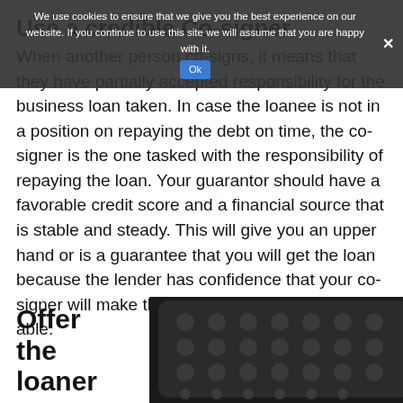Use a credible Co-signer
When another person co-signs, it means that they have partially accepted responsibility for the business loan taken. In case the loanee is not in a position on repaying the debt on time, the co-signer is the one tasked with the responsibility of repaying the loan. Your guarantor should have a favorable credit score and a financial source that is stable and steady. This will give you an upper hand or is a guarantee that you will get the loan because the lender has confidence that your co-signer will make the payments if you are not able.
Offer the loaner
[Figure (photo): Close-up photo of a dark calculator keypad with circular buttons]